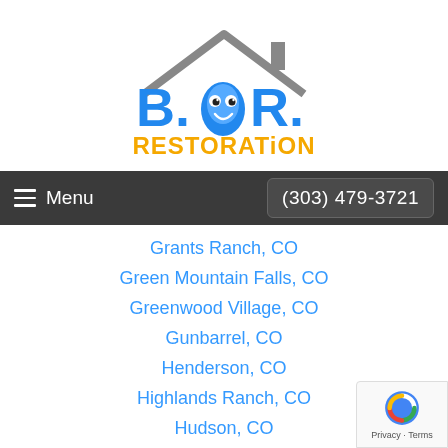[Figure (logo): B.O.R. Restoration logo with blue letters, orange RESTORATION text, a cartoon water drop character with googly eyes, and a gray house roof outline above]
Menu   (303) 479-3721
Grants Ranch, CO
Green Mountain Falls, CO
Greenwood Village, CO
Gunbarrel, CO
Henderson, CO
Highlands Ranch, CO
Hudson, CO
Idaho Springs, CO
Idledale, CO